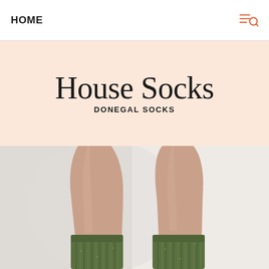HOME
House Socks
DONEGAL SOCKS
[Figure (photo): Two bare legs wearing green ribbed knit house socks, raised upward against a light gray/white background]